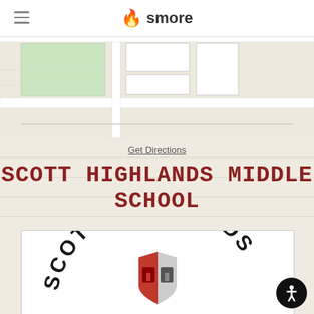smore
[Figure (map): Google Maps partial view showing street map with Salon Jubilee label and map pin]
Get Directions
SCOTT HIGHLANDS MIDDLE SCHOOL
[Figure (logo): Scott Highlands Middle School circular logo with bold arched text 'SCOTT HIGHLANDS' and a red and grey shield emblem in the center]